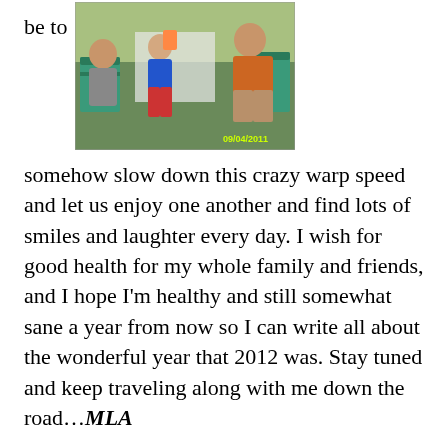be to
[Figure (photo): Outdoor family photo showing people sitting on green plastic chairs, a child in blue shirt, another in red shorts, adults partially visible, timestamp 09/04/2011 in yellow text at bottom right corner.]
somehow slow down this crazy warp speed and let us enjoy one another and find lots of smiles and laughter every day. I wish for good health for my whole family and friends, and I hope I'm healthy and still somewhat sane a year from now so I can write all about the wonderful year that 2012 was. Stay tuned and keep traveling along with me down the road…MLA